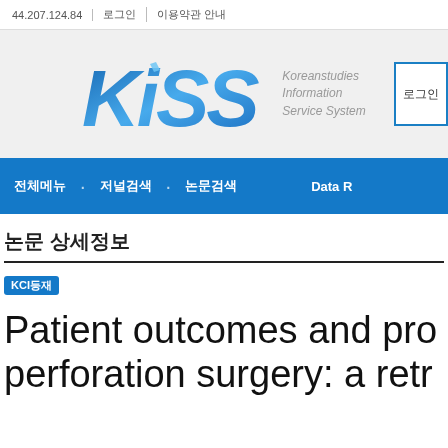44.207.124.84 | 로그인 | 이용약관 안내
[Figure (logo): KISS - Koreanstudies Information Service System logo with blue gradient italic lettering]
로그인
전체메뉴 · 저널검색 · 논문검색 · Data R
논문 상세정보
KCI등재
Patient outcomes and pro perforation surgery: a retr